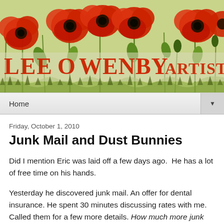[Figure (illustration): Decorative blog header banner featuring a painting of red poppies on a light green/yellow background. Below the flowers, large red text reads 'LEE OWENBY ARTIST'.]
Home
Friday, October 1, 2010
Junk Mail and Dust Bunnies
Did I mention Eric was laid off a few days ago.  He has a lot of free time on his hands.
Yesterday he discovered junk mail. An offer for dental insurance. He spent 30 minutes discussing rates with me. Called them for a few more details. How much more junk